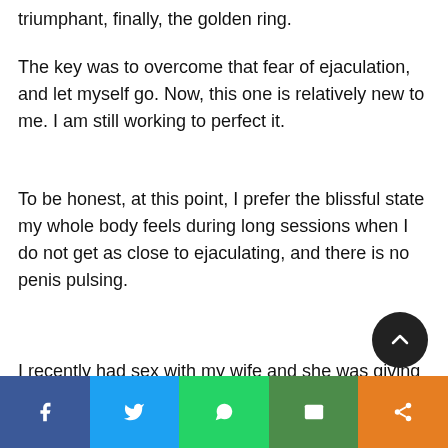triumphant, finally, the golden ring.
The key was to overcome that fear of ejaculation, and let myself go. Now, this one is relatively new to me. I am still working to perfect it.
To be honest, at this point, I prefer the blissful state my whole body feels during long sessions when I do not get as close to ejaculating, and there is no penis pulsing.
I recently had sex with my wife and she was giving me a delightful hand job, I decided this time I ar…